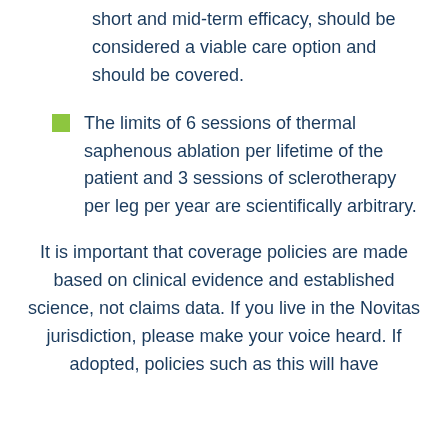short and mid-term efficacy, should be considered a viable care option and should be covered.
The limits of 6 sessions of thermal saphenous ablation per lifetime of the patient and 3 sessions of sclerotherapy per leg per year are scientifically arbitrary.
It is important that coverage policies are made based on clinical evidence and established science, not claims data. If you live in the Novitas jurisdiction, please make your voice heard. If adopted, policies such as this will have